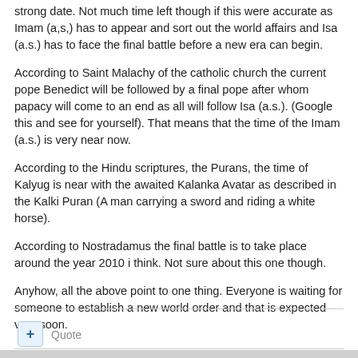strong date. Not much time left though if this were accurate as Imam (a,s,) has to appear and sort out the world affairs and Isa (a.s.) has to face the final battle before a new era can begin.
According to Saint Malachy of the catholic church the current pope Benedict will be followed by a final pope after whom papacy will come to an end as all will follow Isa (a.s.). (Google this and see for yourself). That means that the time of the Imam (a.s.) is very near now.
According to the Hindu scriptures, the Purans, the time of Kalyug is near with the awaited Kalanka Avatar as described in the Kalki Puran (A man carrying a sword and riding a white horse).
According to Nostradamus the final battle is to take place around the year 2010 i think. Not sure about this one though.
Anyhow, all the above point to one thing. Everyone is waiting for someone to establish a new world order and that is expected very soon.